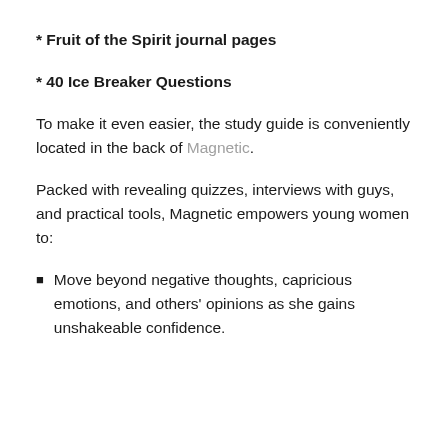* Fruit of the Spirit journal pages
* 40 Ice Breaker Questions
To make it even easier, the study guide is conveniently located in the back of Magnetic.
Packed with revealing quizzes, interviews with guys, and practical tools, Magnetic empowers young women to:
Move beyond negative thoughts, capricious emotions, and others' opinions as she gains unshakeable confidence.